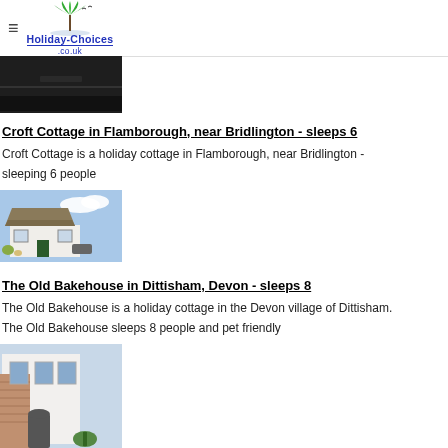Holiday-Choices.co.uk
[Figure (photo): Dark road or driveway image, partially visible at top of page]
Croft Cottage in Flamborough, near Bridlington - sleeps 6
Croft Cottage is a holiday cottage in Flamborough, near Bridlington - sleeping 6 people
[Figure (photo): White thatched cottage with blue sky background]
The Old Bakehouse in Dittisham, Devon - sleeps 8
The Old Bakehouse is a holiday cottage in the Devon village of Dittisham. The Old Bakehouse sleeps 8 people and pet friendly
[Figure (photo): White rendered building with brick details, partially visible at bottom of page]